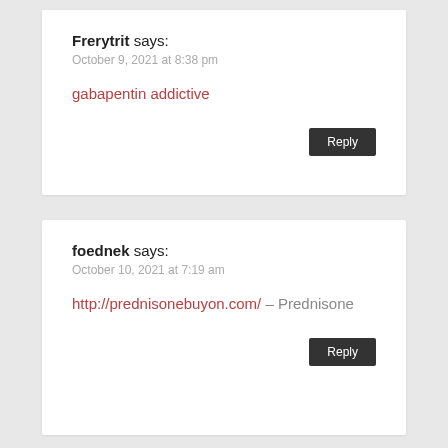Frerytrit says:
October 9, 2021 at 8:38 pm
gabapentin addictive
Reply
foednek says:
October 10, 2021 at 7:19 am
http://prednisonebuyon.com/ – Prednisone
Reply